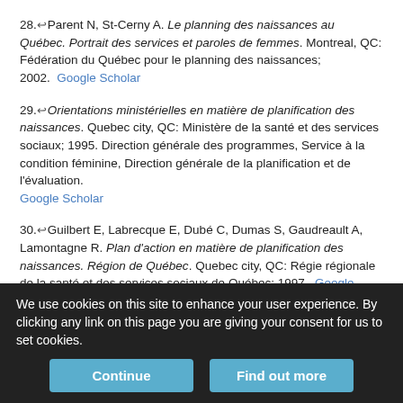28. Parent N, St-Cerny A. Le planning des naissances au Québec. Portrait des services et paroles de femmes. Montreal, QC: Fédération du Québec pour le planning des naissances; 2002. Google Scholar
29. Orientations ministérielles en matière de planification des naissances. Quebec city, QC: Ministère de la santé et des services sociaux; 1995. Direction générale des programmes, Service à la condition féminine, Direction générale de la planification et de l'évaluation. Google Scholar
30. Guilbert E, Labrecque E, Dubé C, Dumas S, Gaudreault A, Lamontagne R. Plan d'action en matière de planification des naissances. Région de Québec. Quebec city, QC: Régie régionale de la santé et des services sociaux de Québec; 1997. Google Scholar
31. Dunn M, Quirion ME, Parent N, LaRue P, Grabowiecka S, Charbonneau J. Le point sur les services d'avortement au Québec...
We use cookies on this site to enhance your user experience. By clicking any link on this page you are giving your consent for us to set cookies.